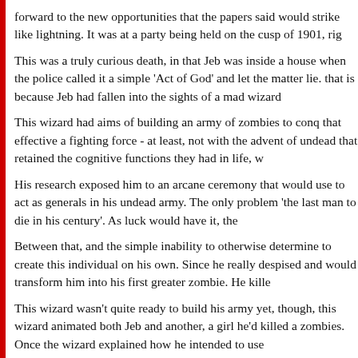forward to the new opportunities that the papers said would strike like lightning. It was at a party being held on the cusp of 1901, rig
This was a truly curious death, in that Jeb was inside a house when the police called it a simple 'Act of God' and let the matter lie. that is because Jeb had fallen into the sights of a mad wizard
This wizard had aims of building an army of zombies to conq that effective a fighting force - at least, not with the advent of undead that retained the cognitive functions they had in life, w
His research exposed him to an arcane ceremony that would use to act as generals in his undead army. The only problem 'the last man to die in his century'. As luck would have it, the
Between that, and the simple inability to otherwise determine to create this individual on his own. Since he really despised and would transform him into his first greater zombie. He kill
This wizard wasn't quite ready to build his army yet, though, this wizard animated both Jeb and another, a girl he'd killed a zombies. Once the wizard explained how he intended to use
It took quite a while, of course, but both of the greater zombie and left him to his own devices. While Jeb was rather hot for was a 'modern girl' and didn't like his backward nature. As su
Which, in the end, was probably a bad thing. For you see, Je managed to get him into trouble time and again. He tries to b